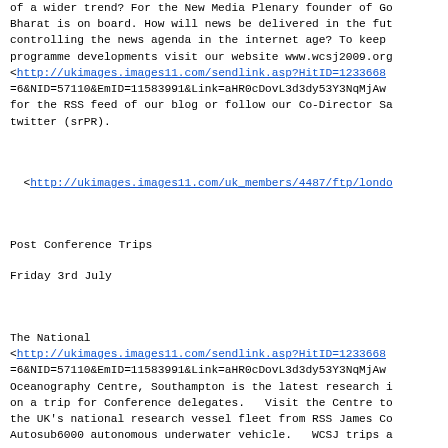of a wider trend? For the New Media Plenary founder of Go Bharat is on board. How will news be delivered in the future controlling the news agenda in the internet age? To keep programme developments visit our website www.wcsj2009.org <http://ukimages.images11.com/sendlink.asp?HitID=12336688 =6&NID=57110&EmID=11583991&Link=aHR0cDovL3d3dy53Y3NqMjAw for the RSS feed of our blog or follow our Co-Director Sa twitter (srPR).
<http://ukimages.images11.com/uk_members/4487/ftp/londo
Post Conference Trips
Friday 3rd July
The National <http://ukimages.images11.com/sendlink.asp?HitID=12336688 =6&NID=57110&EmID=11583991&Link=aHR0cDovL3d3dy53Y3NqMjAw Oceanography Centre, Southampton is the latest research i on a trip for Conference delegates. Visit the Centre to the UK's national research vessel fleet from RSS James Co Autosub6000 autonomous underwater vehicle. WCSJ trips a